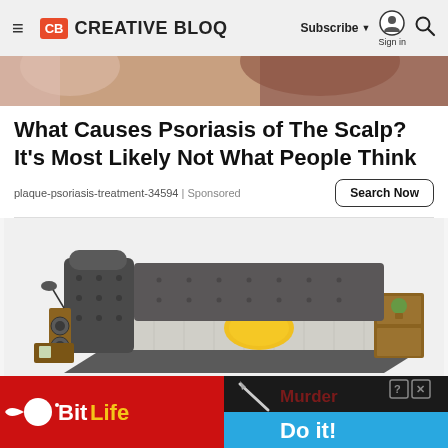≡ CB CREATIVE BLOQ  Subscribe ▼  Sign in  🔍
[Figure (photo): Cropped top portion of a person's bare back/shoulder with long hair visible, skin tone image strip]
What Causes Psoriasis of The Scalp? It's Most Likely Not What People Think
plaque-psoriasis-treatment-34594 | Sponsored
Search Now
[Figure (photo): A modern multi-functional bed with dark gray upholstered headboard/frame, built-in speakers, side shelves with plants and decorative items, gray checkered bedding, and a yellow accent pillow. White background.]
[Figure (other): Advertisement banner: Left side red background with BitLife logo (white and yellow text with sperm icon). Right side: dark background top half showing 'Murder' text in dark red with a pencil/weapon graphic, close/help buttons. Bottom half blue pill-shaped button with 'Do it!' in white text.]